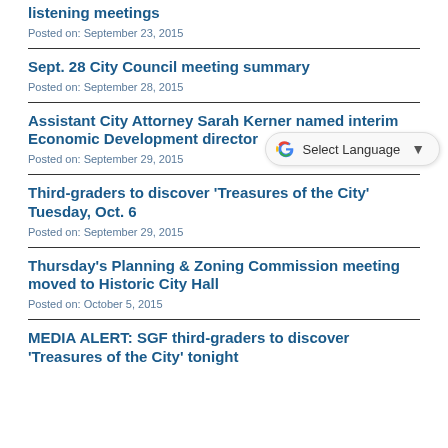listening meetings
Posted on: September 23, 2015
Sept. 28 City Council meeting summary
Posted on: September 28, 2015
Assistant City Attorney Sarah Kerner named interim Economic Development director
Posted on: September 29, 2015
Third-graders to discover 'Treasures of the City' Tuesday, Oct. 6
Posted on: September 29, 2015
Thursday's Planning & Zoning Commission meeting moved to Historic City Hall
Posted on: October 5, 2015
MEDIA ALERT: SGF third-graders to discover 'Treasures of the City' tonight